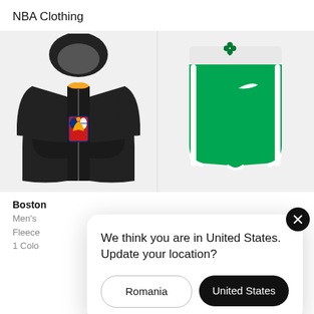NBA Clothing
[Figure (photo): Black NBA zip-up hoodie with NBA logo on chest]
[Figure (photo): Boston Celtics green NBA shorts with white stripes and Nike swoosh]
Boston
Men's
Fleece
1 Colo
RON 3
We think you are in United States. Update your location?
Romania
United States